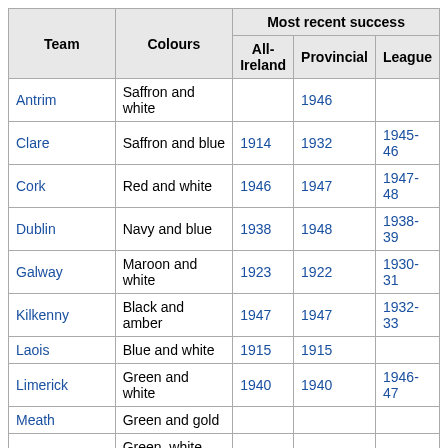| Team | Colours | All-Ireland | Provincial | League |
| --- | --- | --- | --- | --- |
| Antrim | Saffron and white |  | 1946 |  |
| Clare | Saffron and blue | 1914 | 1932 | 1945-46 |
| Cork | Red and white | 1946 | 1947 | 1947-48 |
| Dublin | Navy and blue | 1938 | 1948 | 1938-39 |
| Galway | Maroon and white | 1923 | 1922 | 1930-31 |
| Kilkenny | Black and amber | 1947 | 1947 | 1932-33 |
| Laois | Blue and white | 1915 | 1915 |  |
| Limerick | Green and white | 1940 | 1940 | 1946-47 |
| Meath | Green and gold |  |  |  |
| Offaly | Green, white and gold |  |  |  |
| Tipperary | Blue and gold | 1945 | 1945 | 1948-49 |